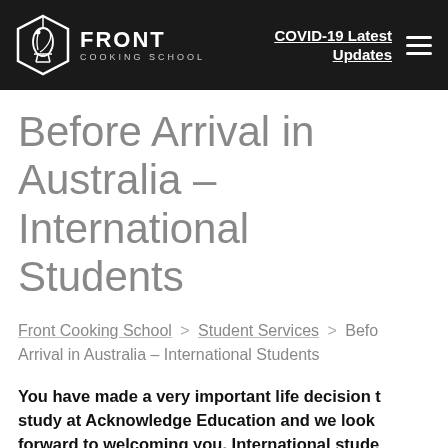FRONT COOKING SCHOOL | COVID-19 Latest Updates
Before Arrival in Australia – International Students
Front Cooking School > Student Services > Before Arrival in Australia – International Students
You have made a very important life decision to study at Acknowledge Education and we look forward to welcoming you. International students who are going to apply for their visas should n…